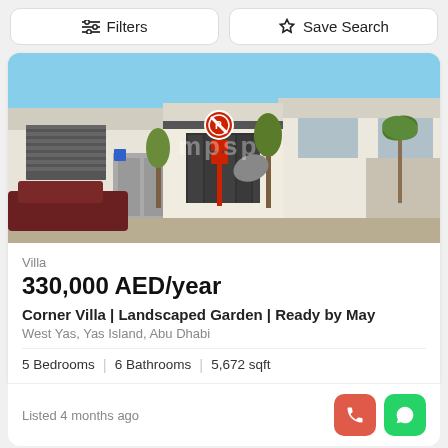Filters | Save Search
[Figure (photo): Exterior photo of a modern white villa with flat roof, palm trees, a parking area, and a red no-parking road sign in front. Blue sky in the background.]
Villa
330,000 AED/year
Corner Villa | Landscaped Garden | Ready by May
West Yas, Yas Island, Abu Dhabi
5 Bedrooms | 6 Bathrooms | 5,672 sqft
Listed 4 months ago
Map
[Figure (photo): Partial view of a dark-colored car interior dashboard, shown at the bottom of the screen.]